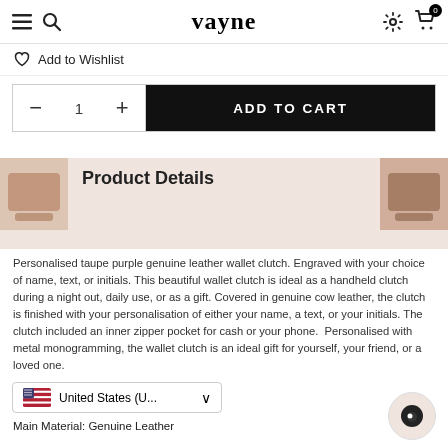vayne
♡ Add to Wishlist
— 1 + ADD TO CART
Product Details
Personalised taupe purple genuine leather wallet clutch. Engraved with your choice of name, text, or initials. This beautiful wallet clutch is ideal as a handheld clutch during a night out, daily use, or as a gift. Covered in genuine cow leather, the clutch is finished with your personalisation of either your name, a text, or your initials. The clutch included an inner zipper pocket for cash or your phone.  Personalised with metal monogramming, the wallet clutch is an ideal gift for yourself, your friend, or a loved one.
United States (U... ∨
Main Material: Genuine Leather